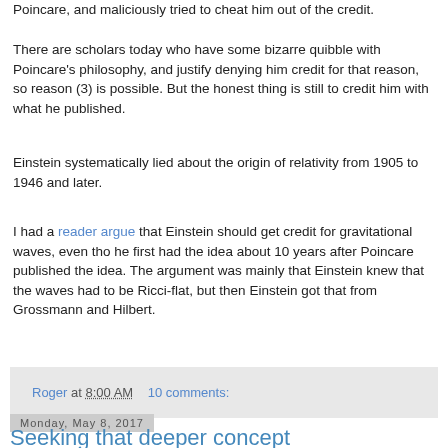Poincare, and maliciously tried to cheat him out of the credit.
There are scholars today who have some bizarre quibble with Poincare's philosophy, and justify denying him credit for that reason, so reason (3) is possible. But the honest thing is still to credit him with what he published.
Einstein systematically lied about the origin of relativity from 1905 to 1946 and later.
I had a reader argue that Einstein should get credit for gravitational waves, even tho he first had the idea about 10 years after Poincare published the idea. The argument was mainly that Einstein knew that the waves had to be Ricci-flat, but then Einstein got that from Grossmann and Hilbert.
Roger at 8:00 AM   10 comments:
Monday, May 8, 2017
Seeking that deeper concept